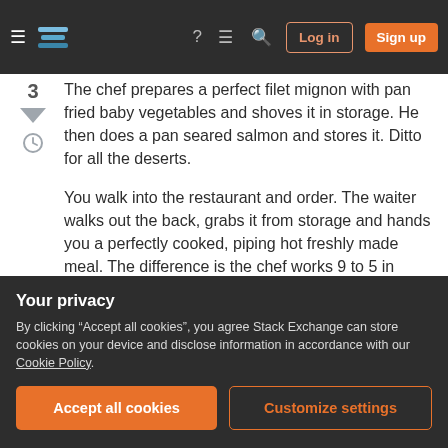Stack Exchange navigation bar with hamburger menu, logo, help, chat, search icons, Log in and Sign up buttons
The chef prepares a perfect filet mignon with pan fried baby vegetables and shoves it in storage. He then does a pan seared salmon and stores it. Ditto for all the deserts.
You walk into the restaurant and order. The waiter walks out the back, grabs it from storage and hands you a perfectly cooked, piping hot freshly made meal. The difference is the chef works 9 to 5 in China and made the meal three weeks ago.
You can order a fresh New York pizza from New
Your privacy
By clicking "Accept all cookies", you agree Stack Exchange can store cookies on your device and disclose information in accordance with our Cookie Policy.
Add a comment